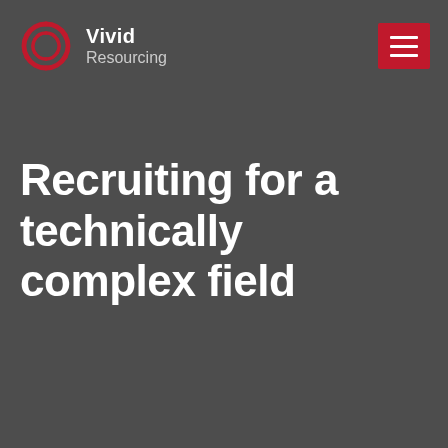[Figure (logo): Vivid Resourcing logo with hexagonal/circular red icon and white text reading 'Vivid Resourcing']
[Figure (other): Red hamburger menu button with three white horizontal lines]
Recruiting for a technically complex field